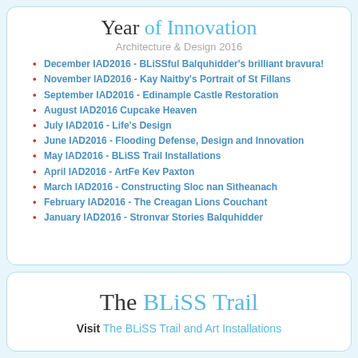Year of Innovation
Architecture & Design 2016
December IAD2016 - BLiSSful Balquhidder's brilliant bravura!
November IAD2016 - Kay Naitby's Portrait of St Fillans
September IAD2016 - Edinample Castle Restoration
August IAD2016 Cupcake Heaven
July IAD2016 - Life's Design
June IAD2016 - Flooding Defense, Design and Innovation
May IAD2016 - BLiSS Trail Installations
April IAD2016 - ArtFe Kev Paxton
March IAD2016 - Constructing Sloc nan Sìtheanach
February IAD2016 - The Creagan Lions Couchant
January IAD2016 - Stronvar Stories Balquhidder
The BLiSS Trail
Visit The BLiSS Trail and Art Installations